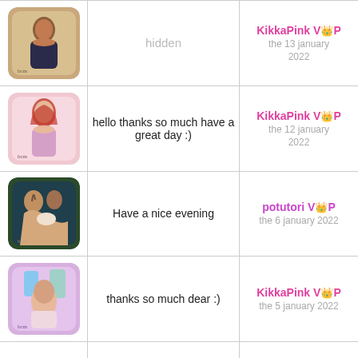| Image | Message | User/Date |
| --- | --- | --- |
| [portrait illustration] | hidden | KikkaPink VIP
the 13 january 2022 |
| [portrait illustration] | hello thanks so much have a great day :) | KikkaPink VIP
the 12 january 2022 |
| [nativity illustration] | Have a nice evening | potutori VIP
the 6 january 2022 |
| [portrait illustration] | thanks so much dear :) | KikkaPink VIP
the 5 january 2022 |